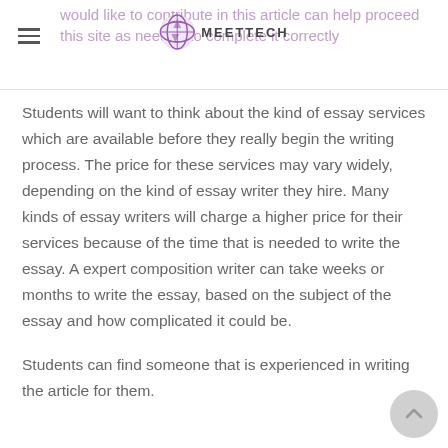would like to contribute in this article can help proceed this site as needed to complete it correctly
[Figure (logo): MeetTech logo with globe icon and text MEETTECH]
Students will want to think about the kind of essay services which are available before they really begin the writing process. The price for these services may vary widely, depending on the kind of essay writer they hire. Many kinds of essay writers will charge a higher price for their services because of the time that is needed to write the essay. A expert composition writer can take weeks or months to write the essay, based on the subject of the essay and how complicated it could be.
Students can find someone that is experienced in writing the article for them.